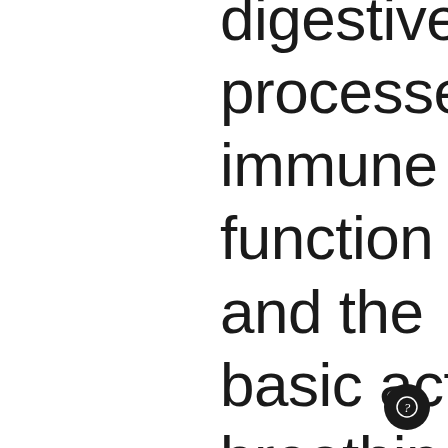digestive processes, immune function and the basic act of breathing — all are initiated and regulated directly by